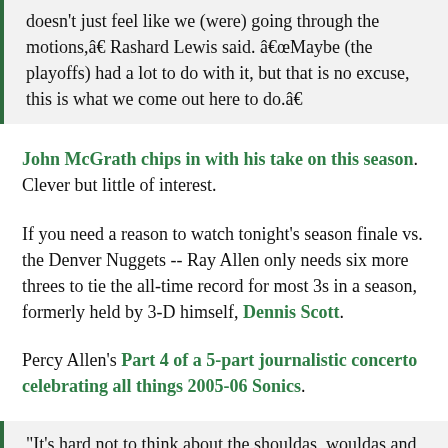doesn't just feel like we (were) going through the motions,â€ Rashard Lewis said. â€œMaybe (the playoffs) had a lot to do with it, but that is no excuse, this is what we come out here to do.â€
John McGrath chips in with his take on this season. Clever but little of interest.
If you need a reason to watch tonight's season finale vs. the Denver Nuggets -- Ray Allen only needs six more threes to tie the all-time record for most 3s in a season, formerly held by 3-D himself, Dennis Scott.
Percy Allen's Part 4 of a 5-part journalistic concerto celebrating all things 2005-06 Sonics.
"It's hard not to think about the shouldas, wouldas and couldas," forward Damien Wilkins said. "From